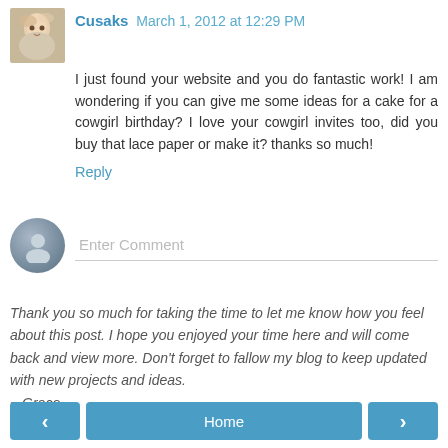Cusaks March 1, 2012 at 12:29 PM
I just found your website and you do fantastic work! I am wondering if you can give me some ideas for a cake for a cowgirl birthday? I love your cowgirl invites too, did you buy that lace paper or make it? thanks so much!
Reply
Enter Comment
Thank you so much for taking the time to let me know how you feel about this post. I hope you enjoyed your time here and will come back and view more. Don't forget to fallow my blog to keep updated with new projects and ideas.
~ Grace ~